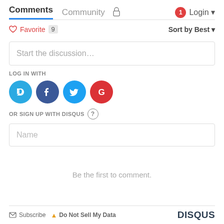Comments  Community  Login
♡ Favorite  9  Sort by Best
Start the discussion…
LOG IN WITH
[Figure (illustration): Four social login icons: Disqus (blue circle with D), Facebook (dark blue circle with f), Twitter (light blue circle with bird), Google (red circle with G)]
OR SIGN UP WITH DISQUS ?
Name
Be the first to comment.
Subscribe  Do Not Sell My Data  DISQUS